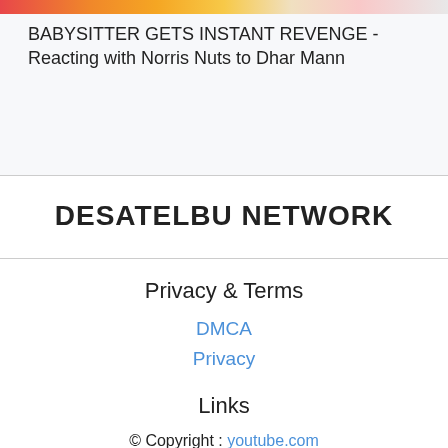[Figure (illustration): Colorful banner image strip showing YouTube-style thumbnail elements with red, orange, yellow, pink tones]
BABYSITTER GETS INSTANT REVENGE - Reacting with Norris Nuts to Dhar Mann
DESATELBU NETWORK
Privacy & Terms
DMCA
Privacy
Links
© Copyright : youtube.com